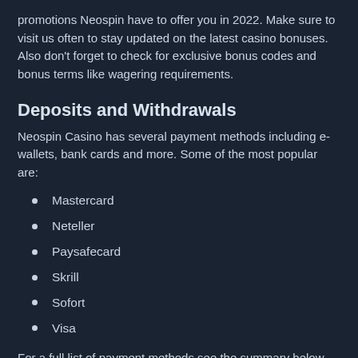promotions Neospin have to offer you in 2022. Make sure to visit us often to stay updated on the latest casino bonuses. Also don't forget to check for exclusive bonus codes and bonus terms like wagering requirements.
Deposits and Withdrawals
Neospin Casino has several payment methods including e-wallets, bank cards and more. Some of the most popular are:
Mastercard
Neteller
Paysafecard
Skrill
Sofort
Visa
For a full list of payment methods see the summary below. Neospin usually processes your withdrawal within 24